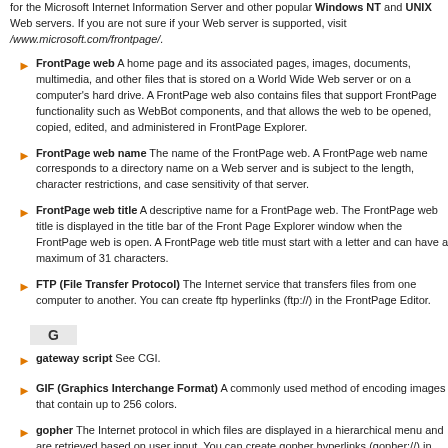for the Microsoft Internet Information Server and other popular Windows NT and UNIX Web servers. If you are not sure if your Web server is supported, visit /www.microsoft.com/frontpage/.
FrontPage web A home page and its associated pages, images, documents, multimedia, and other files that is stored on a World Wide Web server or on a computer's hard drive. A FrontPage web also contains files that support FrontPage functionality such as WebBot components, and that allows the web to be opened, copied, edited, and administered in FrontPage Explorer.
FrontPage web name The name of the FrontPage web. A FrontPage web name corresponds to a directory name on a Web server and is subject to the length, character restrictions, and case sensitivity of that server.
FrontPage web title A descriptive name for a FrontPage web. The FrontPage web title is displayed in the title bar of the Front Page Explorer window when the FrontPage web is open. A FrontPage web title must start with a letter and can have a maximum of 31 characters.
FTP (File Transfer Protocol) The Internet service that transfers files from one computer to another. You can create ftp hyperlinks (ftp://) in the FrontPage Editor.
G
gateway script See CGI.
GIF (Graphics Interchange Format) A commonly used method of encoding images that contain up to 256 colors.
gopher The Internet protocol in which files are displayed in a hierarchical menu and are retrieved based on user input. You can create gopher hyperlinks (gopher://) in the FrontPage Editor.
H